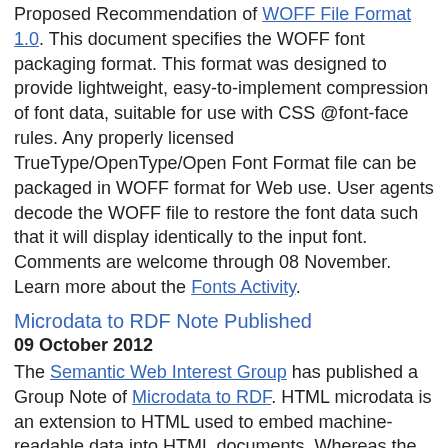Proposed Recommendation of WOFF File Format 1.0. This document specifies the WOFF font packaging format. This format was designed to provide lightweight, easy-to-implement compression of font data, suitable for use with CSS @font-face rules. Any properly licensed TrueType/OpenType/Open Font Format file can be packaged in WOFF format for Web use. User agents decode the WOFF file to restore the font data such that it will display identically to the input font. Comments are welcome through 08 November. Learn more about the Fonts Activity.
Microdata to RDF Note Published
09 October 2012
The Semantic Web Interest Group has published a Group Note of Microdata to RDF. HTML microdata is an extension to HTML used to embed machine-readable data into HTML documents. Whereas the microdata specification describes a means of markup, the output format is JSON. This specification describes processing rules that may be used to extract RDF from an HTML document containing microdata. Learn more about the Semantic Web Activity.
CSS Counter Styles Level 3 Draft Published